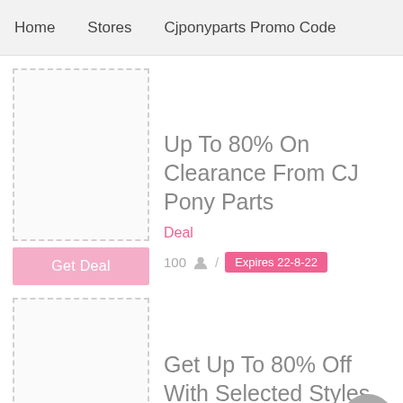Home   Stores   Cjponyparts Promo Code
[Figure (other): Dashed border placeholder image box for deal listing]
Get Deal
Up To 80% On Clearance From CJ Pony Parts
Deal
100 / Expires 22-8-22
[Figure (other): Dashed border placeholder image box for second deal listing]
Get Up To 80% Off With Selected Styles